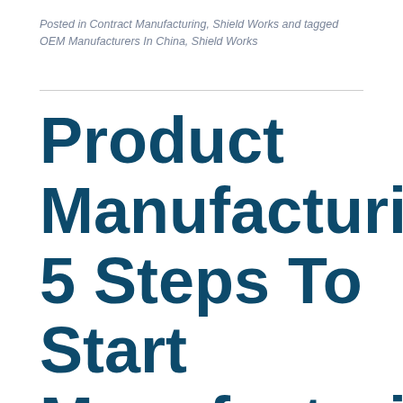Posted in Contract Manufacturing, Shield Works and tagged OEM Manufacturers In China, Shield Works
Product Manufacturing: 5 Steps To Start Manufacturing Your Products In